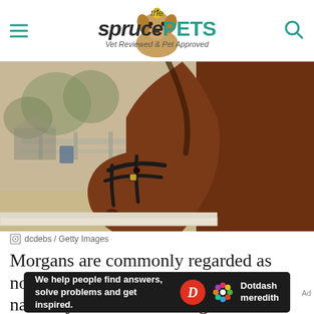the spruce PETS — Vet Reviewed & Pet Approved
[Figure (photo): Close-up photo of a brown horse wearing a black bridle/halter, lowering its head toward a white fence rail, with blurred trees and a ranch/corral in the background]
dcdebs / Getty Images
Morgans are commonly regarded as non-gaited horses, but many will gait naturally. A review of the genetics of gaited Morgans showed a
[Figure (other): Dotdash Meredith advertisement banner: 'We help people find answers, solve problems and get inspired.' with Dotdash Meredith logo]